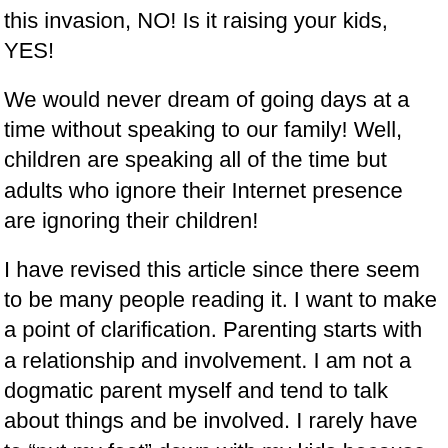this invasion, NO! Is it raising your kids, YES!
We would never dream of going days at a time without speaking to our family! Well, children are speaking all of the time but adults who ignore their Internet presence are ignoring their children!
I have revised this article since there seem to be many people reading it. I want to make a point of clarification. Parenting starts with a relationship and involvement. I am not a dogmatic parent myself and tend to talk about things and be involved. I rarely have to “put my foot” down with my kids because we usually deal with it through our daily interaction and discussion. I am a parent of an 11, 10, and 5 year old and teach 5th graders